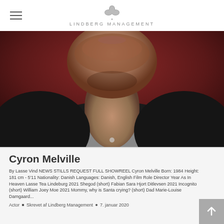LINDBERG MANAGEMENT
[Figure (photo): Close-up portrait photo of Cyron Melville, a man with red/auburn stubble beard, wearing a dark jacket over a grey t-shirt, against a dark red background. The photo shows mainly the lower face, neck and upper chest area.]
Cyron Melville
By Lasse Vind NEWS STILLS REQUEST FULL SHOWREEL Cyron Melville Born: 1984 Height: 181 cm - 5'11 Nationality: Danish Languages: Danish, English Film Role Director Year As In Heaven Lasse Tea Lindeburg 2021 Shegod (short) Fabian Sara Hjort Ditlevsen 2021 Incognito (short) William Joey Moe 2021 Mommy, why is Santa crying? (short) Dad Marie-Louise Damgaard...
Actor  •  Skrevet af Lindberg Management  •  7. januar 2020